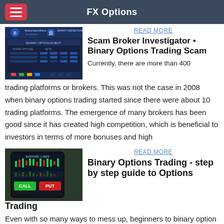FX Options
[Figure (screenshot): Screenshot of Binary Option Robot and Binary Hedge Fund trading platform interface]
READ MORE
Scam Broker Investigator • Binary Options Trading Scam
Currently, there are more than 400 trading platforms or brokers. This was not the case in 2008 when binary options trading started since there were about 10 trading platforms. The emergence of many brokers has been good since it has created high competition, which is beneficial to investors in terms of more bonuses and high
[Figure (screenshot): Screenshot of a mobile trading app showing candlestick charts and trading interface]
READ MORE
Binary Options Trading - step by step guide to Options Trading
Even with so many ways to mess up, beginners to binary option trading can make money if they work hard and follow a system. The